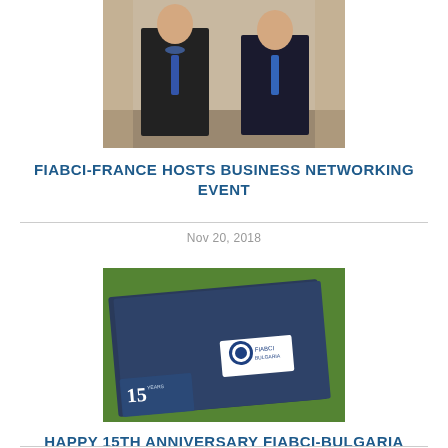[Figure (photo): Two men in formal attire posing together; one wearing a medal/chain of office around his neck]
FIABCI-FRANCE HOSTS BUSINESS NETWORKING EVENT
Nov 20, 2018
[Figure (photo): Dark blue folder/brochure on grass with a FIABCI logo sticker; a '15 YEARS' anniversary logo in the lower left corner]
HAPPY 15TH ANNIVERSARY FIABCI-BULGARIA